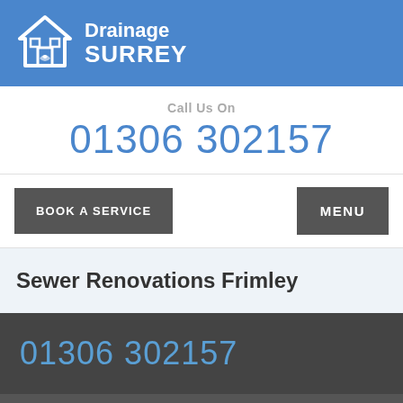Drainage SURREY
Call Us On
01306 302157
BOOK A SERVICE
MENU
Sewer Renovations Frimley
01306 302157
Click on the Button to Contact Us
CONTACT FORM